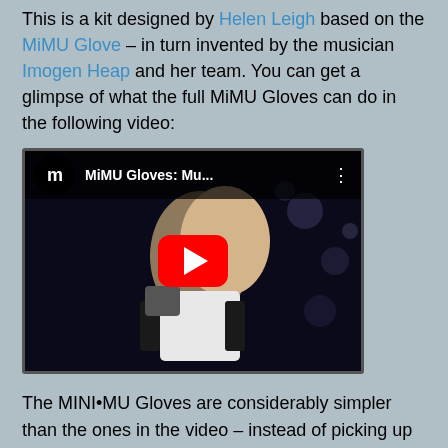This is a kit designed by Helen Leigh based on the MiMU Glove – in turn invented by the musician Imogen Heap and her team. You can get a glimpse of what the full MiMU Gloves can do in the following video:
[Figure (screenshot): Embedded YouTube video thumbnail showing MiMU Gloves performance video with red play button. Title shows 'MiMU Gloves: Mu...' with YouTube logo.]
The MINI•MU Gloves are considerably simpler than the ones in the video – instead of picking up all finger and hand movements, they use the movement sensors on a BBC micro:bit to detect basic hand motions, like how much you tilt your hand front to back and side to side. It's still plenty of